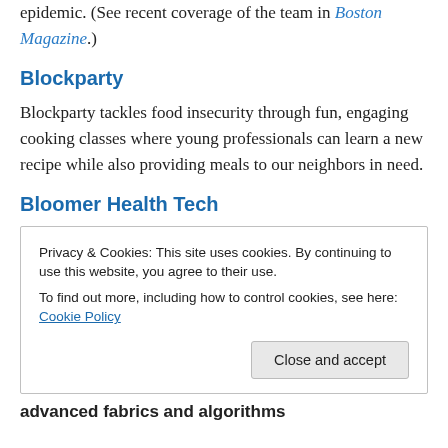epidemic. (See recent coverage of the team in Boston Magazine.)
Blockparty
Blockparty tackles food insecurity through fun, engaging cooking classes where young professionals can learn a new recipe while also providing meals to our neighbors in need.
Bloomer Health Tech
Privacy & Cookies: This site uses cookies. By continuing to use this website, you agree to their use.
To find out more, including how to control cookies, see here: Cookie Policy
[Close and accept]
advanced fabrics and algorithms